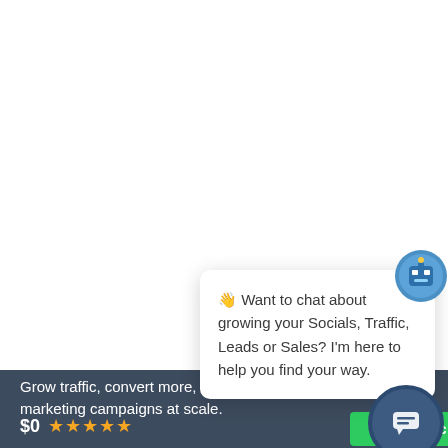[Figure (screenshot): Chat popup widget with robot avatar icon showing a message about growing Socials, Traffic, Leads or Sales, with a close (X) button]
👋 Want to chat about growing your Socials, Traffic, Leads or Sales? I'm here to help you find your way.
Grow traffic, convert more, and run complete marketing campaigns at scale.
$0 ★★★★★ Get Free Ac